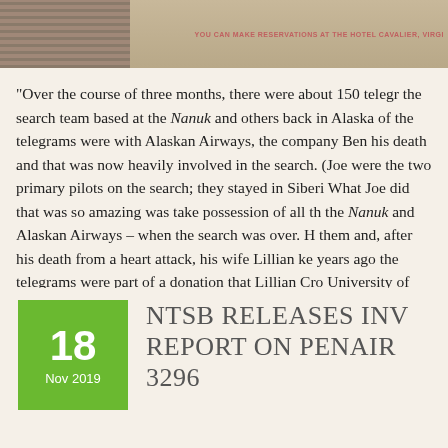[Figure (photo): Top portion of a page showing a partial image with horizontal stripes on the left and red text on the right reading 'YOU CAN MAKE RESERVATIONS AT THE HOTEL CAVALIER, VIRGI...']
“Over the course of three months, there were about 150 telegrams between the search team based at the Nanuk and others back in Alaska. Many of the telegrams were with Alaskan Airways, the company Ben Eielson flew for before his death and that was now heavily involved in the search. (Joe Crosson and Frank Dorbandt were the two primary pilots on the search; they stayed in Siberia for weeks.) What Joe did that was so amazing was take possession of all the telegrams – from the Nanuk and Alaskan Airways – when the search was over. He carefully organized them and, after his death from a heart attack, his wife Lillian kept them. About four years ago the telegrams were part of a donation that Lillian Crosson made to the University of Alaska Fairbanks and that is where I dug into them for my research on the Cosmic Ray Expedition.”
[Figure (other): Green date box showing '18 Nov 2019']
NTSB RELEASES INVESTIGATION REPORT ON PENAIR FLIGHT 3296